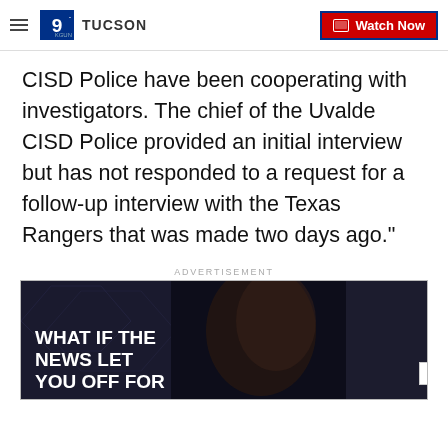9 TUCSON | Watch Now
CISD Police have been cooperating with investigators. The chief of the Uvalde CISD Police provided an initial interview but has not responded to a request for a follow-up interview with the Texas Rangers that was made two days ago."
ADVERTISEMENT
[Figure (photo): Advertisement image showing a woman in profile with text overlay reading 'WHAT IF THE NEWS LET YOU OFF FOR' with a close button on the right side]